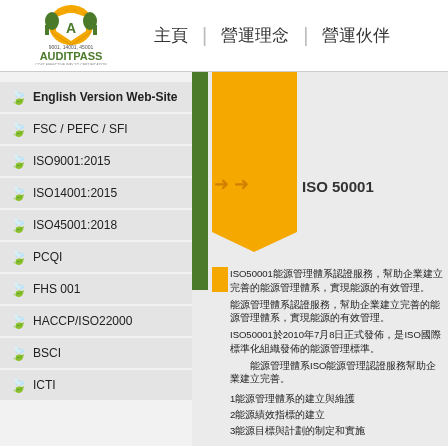[Figure (logo): AUDITPASS company logo with green lions and shield, text 9001, 14001, 45001, tagline COST EFFECTIVE WAY TO CERTIFICATION]
主頁   |   營運理念   |   營運伙伴
English Version Web-Site
FSC / PEFC / SFI
ISO9001:2015
ISO14001:2015
ISO45001:2018
PCQI
FHS 001
HACCP/ISO22000
BSCI
ICTI
[Figure (infographic): Orange banner shape with arrows pointing right and ISO 50001 label, green vertical bar, orange vertical strip below]
ISO 50001
ISO50001能源管理體系認證服務，幫助企業建立完善的能源管理體系，實現能源的有效管理。ISO50001於2010年7月8日正式發佈，是ISO國際標準化組織發佈的能源管理標準。
1能源管理體系的建立與維護
2能源績效指標的建立
3能源目標與計劃的制定